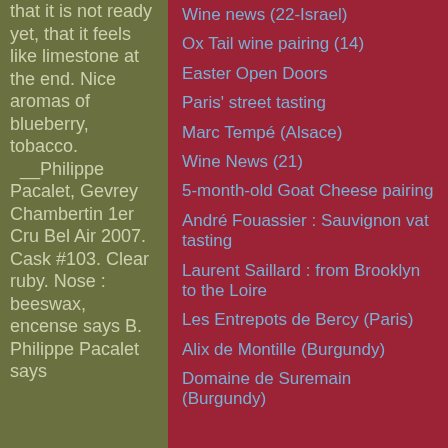that it is not ready yet, that it feels like limestone at the end. Nice aromas of blueberry, tobacco. __Philippe Pacalet, Gevrey Chambertin 1er Cru Bel Air 2007. Cask #103. Clear ruby. Nose : beeswax, encense says B. Philippe Pacalet says
Wine news (22-Israel)
Ox Tail wine pairing (14)
Easter Open Doors
Paris' street tasting
Marc Tempé (Alsace)
Wine News (21)
5-month-old Goat Cheese pairing
André Fouassier : Sauvignon vat tasting
Laurent Saillard : from Brooklyn to the Loire
Les Entrepots de Bercy (Paris)
Alix de Montille (Burgundy)
Domaine de Suremain (Burgundy)